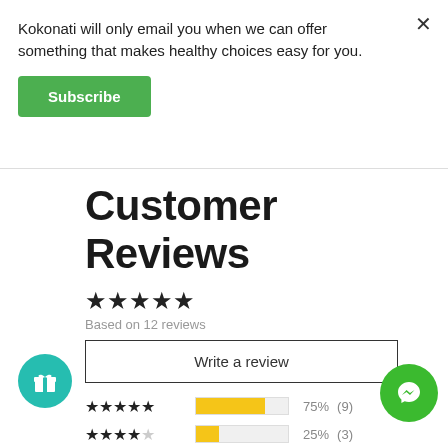Kokonati will only email you when we can offer something that makes healthy choices easy for you.
Subscribe
Customer Reviews
Based on 12 reviews
Write a review
| Stars | Bar | Percent | Count |
| --- | --- | --- | --- |
| 5 stars | 75% | 75% | (9) |
| 4 stars | 25% | 25% | (3) |
| 3 stars | 0% | 0% | (0) |